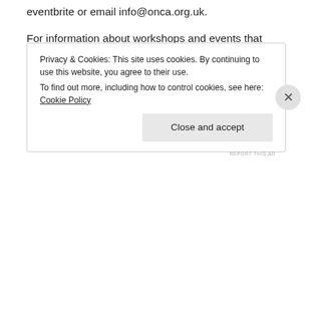eventbrite or email info@onca.org.uk.
For information about workshops and events that relate to To the Trees and the Changing Habitats exhibition series visit http://onca.org.uk/workshops/
via To the Trees: A Changing of Home | ONCA.
[Figure (other): Purple eCommerce platform advertisement banner]
REPORT THIS AD
Privacy & Cookies: This site uses cookies. By continuing to use this website, you agree to their use.
To find out more, including how to control cookies, see here: Cookie Policy
Close and accept